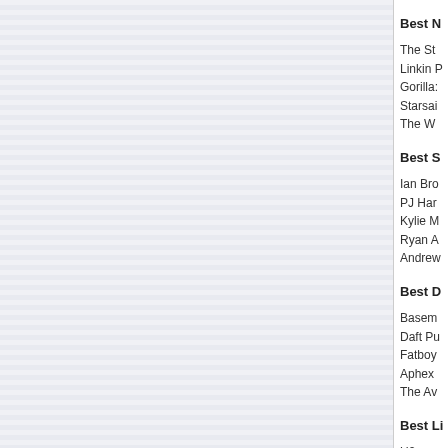Best N
The St
Linkin P
Gorilla:
Starsai
The W
Best S
Ian Bro
PJ Har
Kylie M
Ryan A
Andrew
Best D
Basem
Daft Pu
Fatboy
Aphex
The Av
Best Li
U2
Ash
Radioh
Muso